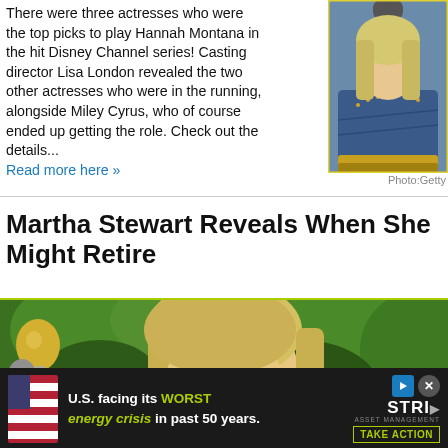There were three actresses who were the top picks to play Hannah Montana in the hit Disney Channel series! Casting director Lisa London revealed the two other actresses who were in the running, alongside Miley Cyrus, who of course ended up getting the role. Check out the details...
Read more here »
[Figure (photo): Photo of a performer with blonde hair singing into a microphone, wearing a denim jacket with gold accents]
Photo:Getty
Martha Stewart Reveals When She Might Retire
[Figure (photo): Photo of Martha Stewart outdoors with green foliage background and gold balloons, with accessibility button overlay and advertisement banner at bottom]
U.S. facing its WORST energy crisis in past 50 years.
[Figure (logo): STRI asset management logo with play icon]